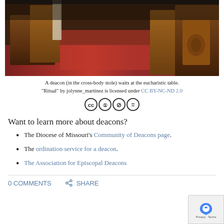[Figure (photo): Interior of a church showing wooden pews and red carpet, a deacon waiting at the eucharistic table in the cross-body stole.]
A deacon (in the cross-body stole) waits at the eucharistic table. "Ritual" by jolynne_martinez is licensed under CC BY-NC-ND 2.0
[Figure (other): Creative Commons license icons: CC, BY, NC, ND]
Want to learn more about deacons?
The Diocese of Missouri's Community of Deacons page.
The ordination service for a deacon.
The Association for Episcopal Deacons
0 COMMENTS   SHARE